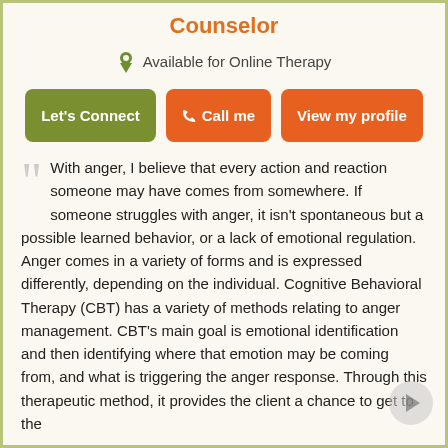Counselor
Available for Online Therapy
Let's Connect | Call me | View my profile
With anger, I believe that every action and reaction someone may have comes from somewhere. If someone struggles with anger, it isn't spontaneous but a possible learned behavior, or a lack of emotional regulation. Anger comes in a variety of forms and is expressed differently, depending on the individual. Cognitive Behavioral Therapy (CBT) has a variety of methods relating to anger management. CBT's main goal is emotional identification and then identifying where that emotion may be coming from, and what is triggering the anger response. Through this therapeutic method, it provides the client a chance to get to the